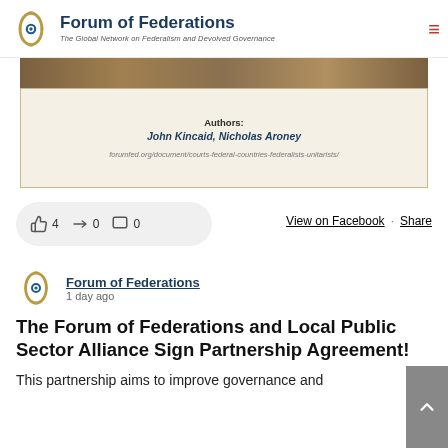Forum of Federations — The Global Network on Federalism and Devolved Governance
[Figure (screenshot): Book cover strip (spines of books) with author card overlay showing 'Authors: John Kincaid, Nicholas Aroney' and URL 'forumfed.org/document/courts-federal-countries-federalists-unitarists/']
4  0  0
View on Facebook · Share
Forum of Federations
1 day ago
The Forum of Federations and Local Public Sector Alliance Sign Partnership Agreement!
This partnership aims to improve governance and